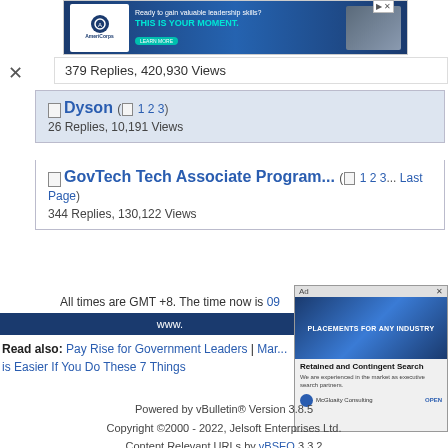[Figure (other): AmeriCorps advertisement banner: 'Ready to gain valuable leadership skills? THIS IS YOUR MOMENT. LEARN MORE']
379 Replies, 420,930 Views
Dyson ( 1 2 3 ) — 26 Replies, 10,191 Views
GovTech Tech Associate Program... ( 1 2 3... Last Page ) — 344 Replies, 130,122 Views
All times are GMT +8. The time now is 09...
www...
Read also: Pay Rise for Government Leaders | Mar... is Easier If You Do These 7 Things
[Figure (other): McGrath & Co ad overlay: Retained and Contingent Search — executive search partners. McGloaity Consulting. OPEN button.]
Powered by vBulletin® Version 3.8.5
Copyright ©2000 - 2022, Jelsoft Enterprises Ltd.
Content Relevant URLs by vBSEO 3.3.2